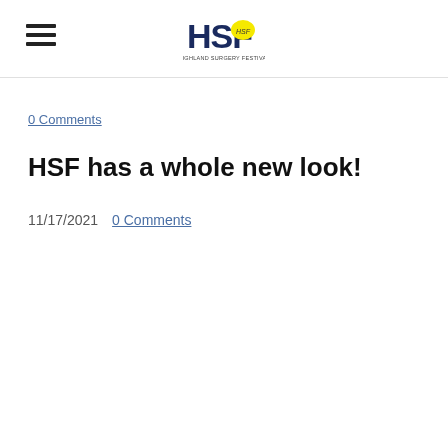HSF logo and navigation
0 Comments
HSF has a whole new look!
11/17/2021  0 Comments